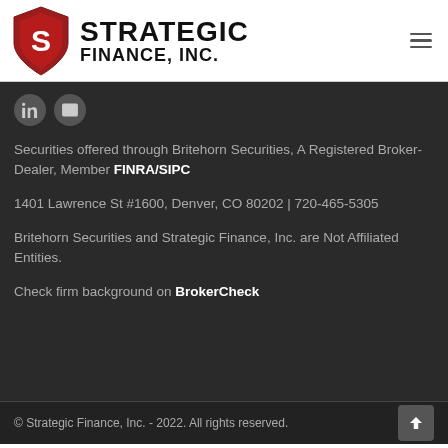[Figure (logo): Strategic Finance, Inc. logo with red shield and bold black text]
Securities offered through Britehorn Securities, A Registered Broker-Dealer, Member FINRA/SIPC
1401 Lawrence St #1600, Denver, CO 80202 | 720-465-5305
Britehorn Securities and Strategic Finance, Inc. are Not Affiliated Entities.
Check firm background on BrokerCheck
© Strategic Finance, Inc. - 2022. All rights reserved.